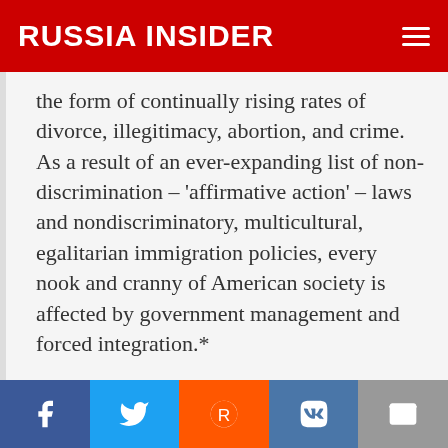RUSSIA INSIDER
the form of continually rising rates of divorce, illegitimacy, abortion, and crime. As a result of an ever-expanding list of non-discrimination – 'affirmative action' – laws and nondiscriminatory, multicultural, egalitarian immigration policies, every nook and cranny of American society is affected by government management and forced integration.*
A primary reason why the quality of Western life has crumbled so markedly has been the